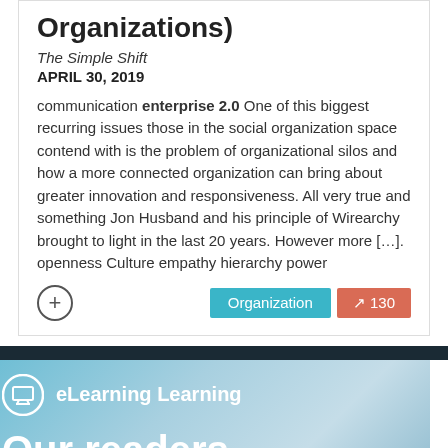Organizations)
The Simple Shift
APRIL 30, 2019
communication enterprise 2.0 One of this biggest recurring issues those in the social organization space contend with is the problem of organizational silos and how a more connected organization can bring about greater innovation and responsiveness. All very true and something Jon Husband and his principle of Wirearchy brought to light in the last 20 years. However more […]. openness Culture empathy hierarchy power
[Figure (screenshot): eLearning Learning banner with monitor icon and 'Our readers' text on blue background]